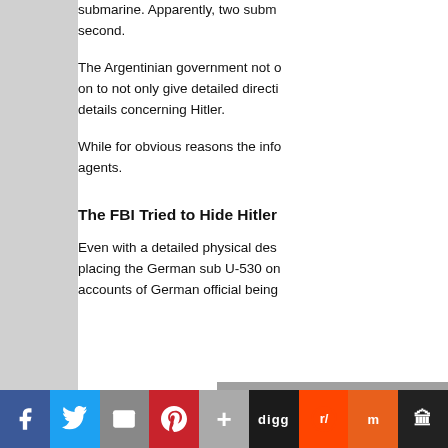submarine. Apparently, two subm... second.
The Argentinian government not o... on to not only give detailed directi... details concerning Hitler.
While for obvious reasons the info... agents.
The FBI Tried to Hide Hitler...
Even with a detailed physical des... placing the German sub U-530 on... accounts of German official being...
[Figure (photo): Black and white photograph showing a young child with bowl-cut hair and an adult man, partial view, outdoor setting.]
Social sharing bar: Facebook, Twitter, Email, Pinterest, Plus, Digg, Reddit, Mix, Museum